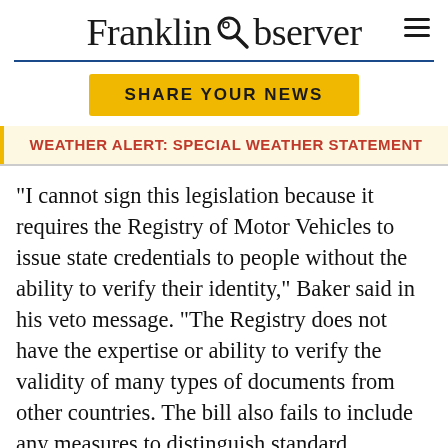Franklin Observer
SHARE YOUR NEWS
WEATHER ALERT: SPECIAL WEATHER STATEMENT
“I cannot sign this legislation because it requires the Registry of Motor Vehicles to issue state credentials to people without the ability to verify their identity,” Baker said in his veto message. “The Registry does not have the expertise or ability to verify the validity of many types of documents from other countries. The bill also fails to include any measures to distinguish standard Massachusetts driver’s licenses issued to